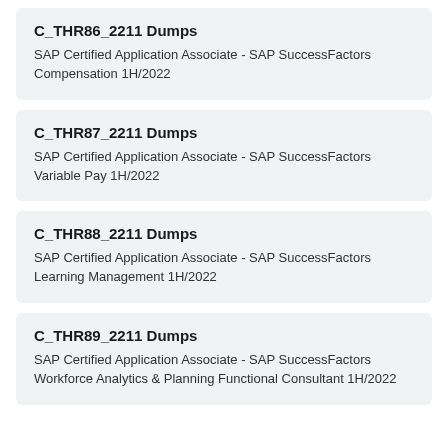C_THR86_2211 Dumps
SAP Certified Application Associate - SAP SuccessFactors Compensation 1H/2022
C_THR87_2211 Dumps
SAP Certified Application Associate - SAP SuccessFactors Variable Pay 1H/2022
C_THR88_2211 Dumps
SAP Certified Application Associate - SAP SuccessFactors Learning Management 1H/2022
C_THR89_2211 Dumps
SAP Certified Application Associate - SAP SuccessFactors Workforce Analytics & Planning Functional Consultant 1H/2022